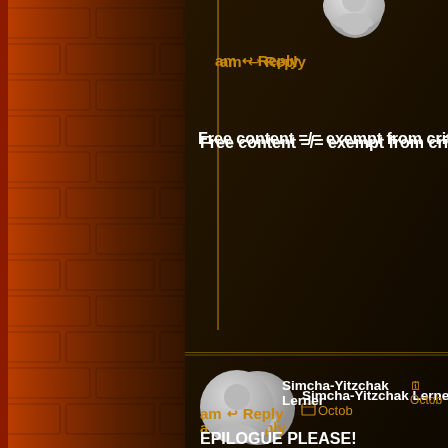[Figure (screenshot): Website comment section screenshot with dark brown/orange background, showing two user comments. Left side has orange brick wall texture. First comment shows partial avatar at top, 'am Reply' in orange, and text 'Free content =/= exempt from criticism'. Second comment shows avatar of Simcha-Yitzchak Lerner, 'am Reply' in orange, then bold text 'EPILOGUE PLEASE!' followed by body text 'Now that this great story is in the process of w... like to *beg* that an epilogue be included letti... years down the road how things work out for N... there any kittens?) and the rest of the cast (à... the Harry Potter series).']